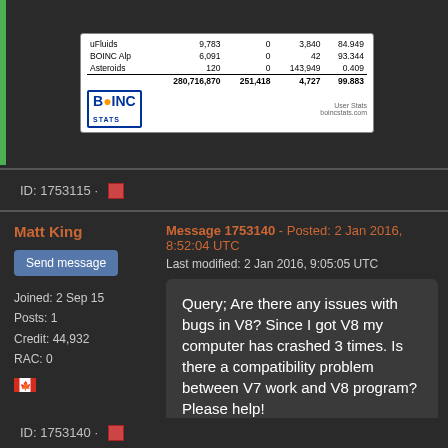[Figure (screenshot): BOINC Stats table showing project credits including entries for uFluids (9,783 credits), BOINC Alp (6,091 credits), Asteroids (120 credits), totaling 280,716,870 with 251,418 and 4,727 columns, 99.883]
ID: 1753115 ·
Matt King
Send message
Joined: 2 Sep 15
Posts: 1
Credit: 44,932
RAC: 0
Message 1753140 - Posted: 2 Jan 2016, 8:52:04 UTC
Last modified: 2 Jan 2016, 9:05:05 UTC
Query; Are there any issues with bugs in V8? Since I got V8 my computer has crashed 3 times. Is there a compatibility problem between V7 work and V8 program? Please help!
ID: 1753140 ·